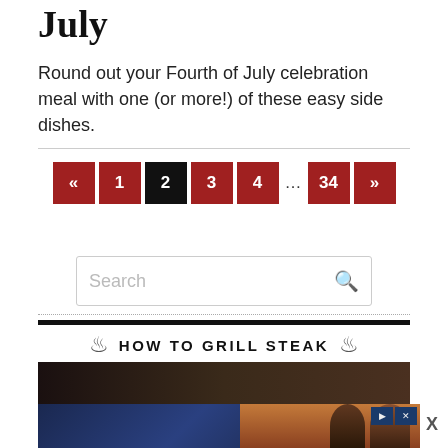July
Round out your Fourth of July celebration meal with one (or more!) of these easy side dishes.
[Figure (other): Pagination bar with buttons: «, 1, 2 (active/current), 3, 4, ..., 34, »]
[Figure (other): Search input box with placeholder text 'Search' and a search icon on the right]
HOW TO GRILL STEAK
[Figure (photo): Dark photo strip at the bottom, partially visible. Below it an advertisement banner showing two people.]